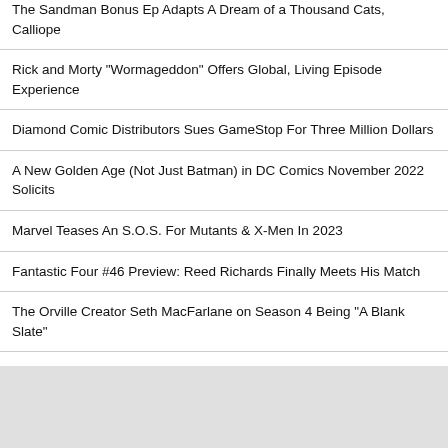The Sandman Bonus Ep Adapts A Dream of a Thousand Cats, Calliope
Rick and Morty "Wormageddon" Offers Global, Living Episode Experience
Diamond Comic Distributors Sues GameStop For Three Million Dollars
A New Golden Age (Not Just Batman) in DC Comics November 2022 Solicits
Marvel Teases An S.O.S. For Mutants & X-Men In 2023
Fantastic Four #46 Preview: Reed Richards Finally Meets His Match
The Orville Creator Seth MacFarlane on Season 4 Being "A Blank Slate"
[Figure (other): Grey placeholder box at the bottom of the page]